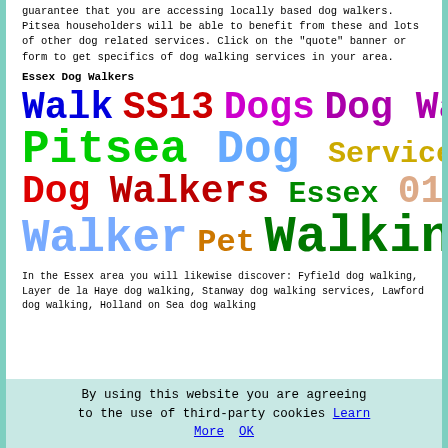guarantee that you are accessing locally based dog walkers. Pitsea householders will be able to benefit from these and lots of other dog related services. Click on the "quote" banner or form to get specifics of dog walking services in your area.
Essex Dog Walkers
Walk SS13 Dogs Dog Walking
Pitsea Dog Services
Dog Walkers Essex 01268
Walker Pet Walking
In the Essex area you will likewise discover: Fyfield dog walking, Layer de la Haye dog walking, Stanway dog walking services, Lawford dog walking, Holland on Sea dog walking
By using this website you are agreeing to the use of third-party cookies Learn More OK